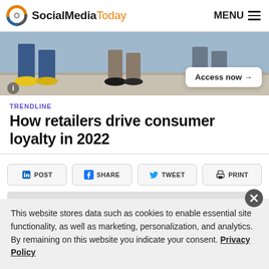SocialMediaToday | MENU
[Figure (photo): Banner photo showing people walking on a sidewalk with an 'Access now →' button overlay]
TRENDLINE
How retailers drive consumer loyalty in 2022
in POST | SHARE | TWEET | PRINT
This website stores data such as cookies to enable essential site functionality, as well as marketing, personalization, and analytics. By remaining on this website you indicate your consent. Privacy Policy